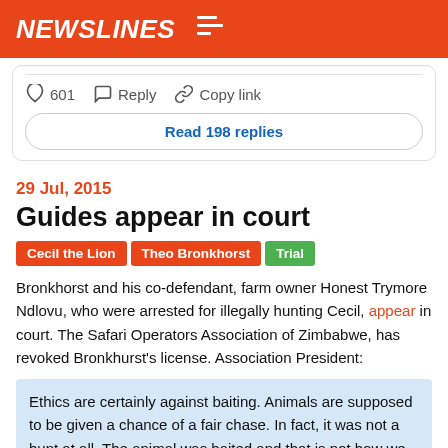NEWSLINES
601   Reply   Copy link
Read 198 replies
29 Jul, 2015
Guides appear in court
Cecil the Lion  Theo Bronkhorst  Trial
Bronkhorst and his co-defendant, farm owner Honest Trymore Ndlovu, who were arrested for illegally hunting Cecil, appear in court. The Safari Operators Association of Zimbabwe, has revoked Bronkhurst's license. Association President:
Ethics are certainly against baiting. Animals are supposed to be given a chance of a fair chase. In fact, it was not a hunt at all. The animal was baited and that is not how we do it. It is